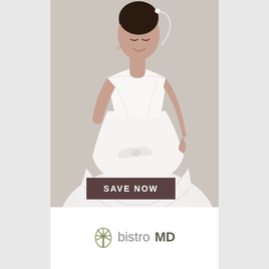[Figure (photo): A smiling bride in a white strapless wedding dress with layered skirt, looking down, with a white veil in her hair, on a light grey/beige background. A dark brown button overlay reads SAVE NOW.]
[Figure (logo): bistroMD logo: a stylized fork-and-wheat icon in olive/grey tones followed by the word 'bistro' in light grey and 'MD' in dark olive/brown, bold.]